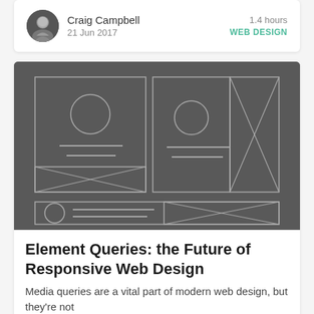Craig Campbell  1.4 hours  21 Jun 2017  WEB DESIGN
[Figure (illustration): Wireframe mockup showing responsive layout with card-style UI elements: two column layout in the top half with placeholder image circles, text lines, and X-crossed image boxes; a horizontal card row on the bottom with circle avatar, text lines and X-crossed image box.]
Element Queries: the Future of Responsive Web Design
Media queries are a vital part of modern web design, but they're not